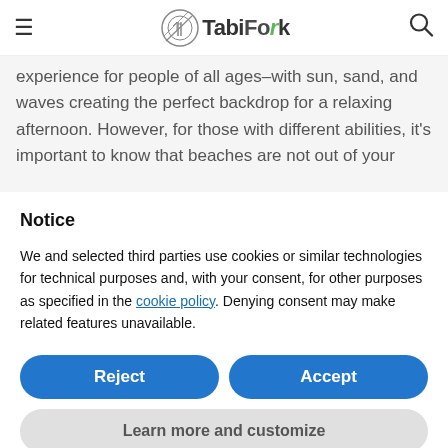TabiFork
experience for people of all ages–with sun, sand, and waves creating the perfect backdrop for a relaxing afternoon. However, for those with different abilities, it's important to know that beaches are not out of your
Notice
We and selected third parties use cookies or similar technologies for technical purposes and, with your consent, for other purposes as specified in the cookie policy. Denying consent may make related features unavailable.
Reject
Accept
Learn more and customize